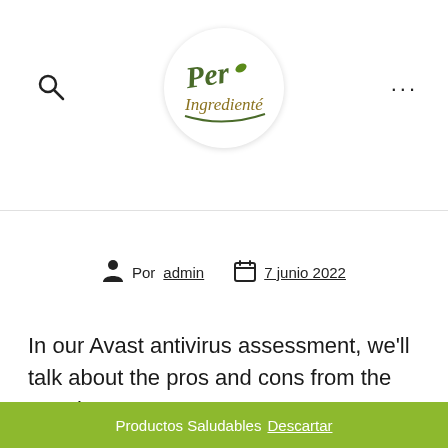[Figure (logo): Per Ingrediente logo — circular white badge with green and gold script text reading 'Per Ingrediente' with a small green leaf]
Por admin   7 junio 2022
In our Avast antivirus assessment, we'll talk about the pros and cons from the popular
Productos Saludables Descartar